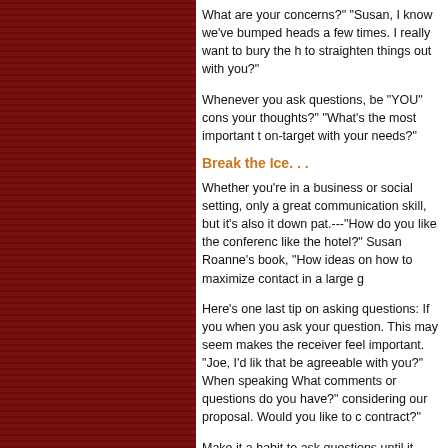What are your concerns?" "Susan, I know we've bumped heads a few times. I really want to bury the hatchet and to straighten things out with you?"
Whenever you ask questions, be "YOU" conscious. "What are your thoughts?" "What's the most important thing to stay on-target with your needs?"
Break the Ice. . .
Whether you're in a business or social setting, small talk is not only a great communication skill, but it's also important to have it down pat.---"How do you like the conference?" "How do you like the hotel?" Susan Roanne's book, "How to Work a Room" has ideas on how to maximize contact in a large gathering.
Here's one last tip on asking questions: If you use a name when you ask your question. This may seem simple, but it makes the receiver feel important. "Joe, I'd like to suggest that be agreeable with you?" When speaking to a group--- "What comments or questions do you have?" "Thank you for considering our proposal. Would you like to continue with the contract?"
Make it a habit to ask questions until it becomes one of your skills in both business and social settings.